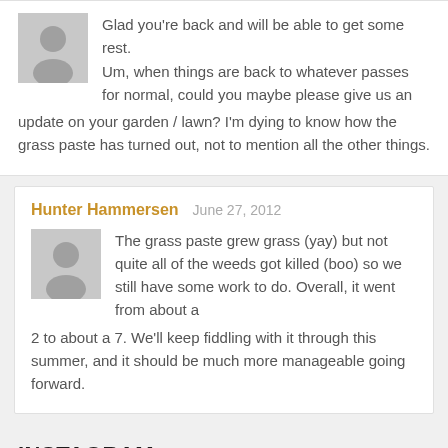Glad you're back and will be able to get some rest. Um, when things are back to whatever passes for normal, could you maybe please give us an update on your garden / lawn? I'm dying to know how the grass paste has turned out, not to mention all the other things.
Hunter Hammersen   June 27, 2012
The grass paste grew grass (yay) but not quite all of the weeds got killed (boo) so we still have some work to do. Overall, it went from about a 2 to about a 7. We'll keep fiddling with it through this summer, and it should be much more manageable going forward.
INSTAGRAM